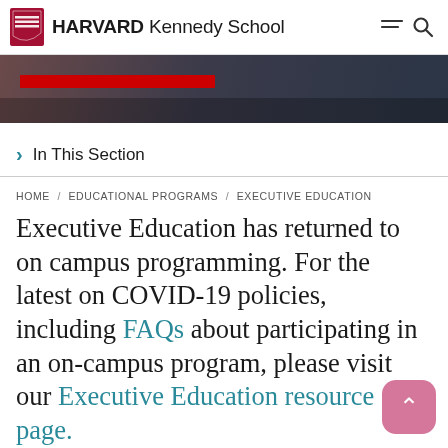HARVARD Kennedy School
[Figure (photo): Hero image strip showing a desk/laptop scene with a red bar overlay]
In This Section
HOME / EDUCATIONAL PROGRAMS / EXECUTIVE EDUCATION
Executive Education has returned to on campus programming. For the latest on COVID-19 policies, including FAQs about participating in an on-campus program, please visit our Executive Education resource page.